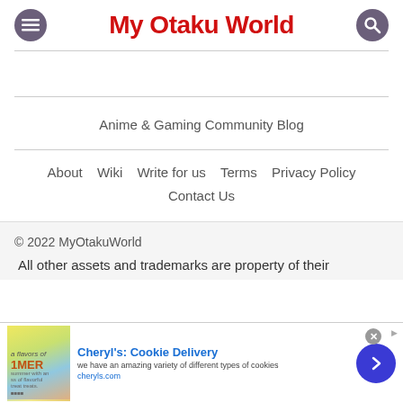My Otaku World
Anime & Gaming Community Blog
About  Wiki  Write for us  Terms  Privacy Policy  Contact Us
© 2022 MyOtakuWorld
All other assets and trademarks are property of their
[Figure (infographic): Advertisement banner for Cheryl's Cookie Delivery showing cookie image, blue title text, description and cheryls.com URL with navigation arrow button]